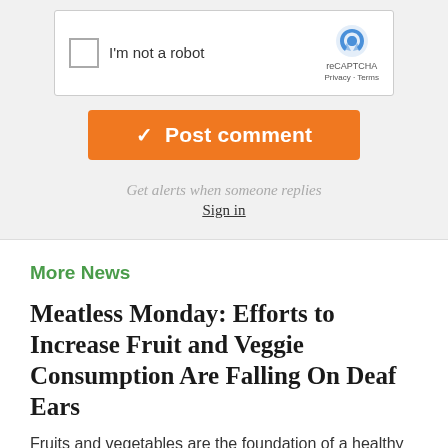[Figure (screenshot): reCAPTCHA widget with checkbox labeled 'I'm not a robot' and reCAPTCHA logo with Privacy and Terms links]
[Figure (screenshot): Orange 'Post comment' button with checkmark icon]
Get alerts when someone replies
Sign in
More News
Meatless Monday: Efforts to Increase Fruit and Veggie Consumption Are Falling On Deaf Ears
Fruits and vegetables are the foundation of a healthy diet and a